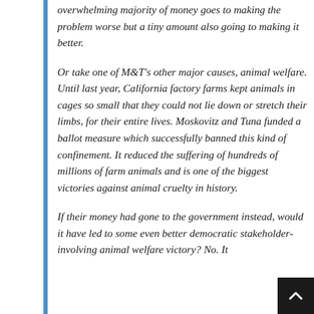overwhelming majority of money goes to making the problem worse but a tiny amount also going to making it better.
Or take one of M&T's other major causes, animal welfare. Until last year, California factory farms kept animals in cages so small that they could not lie down or stretch their limbs, for their entire lives. Moskovitz and Tuna funded a ballot measure which successfully banned this kind of confinement. It reduced the suffering of hundreds of millions of farm animals and is one of the biggest victories against animal cruelty in history.
If their money had gone to the government instead, would it have led to some even better democratic stakeholder-involving animal welfare victory? No. It